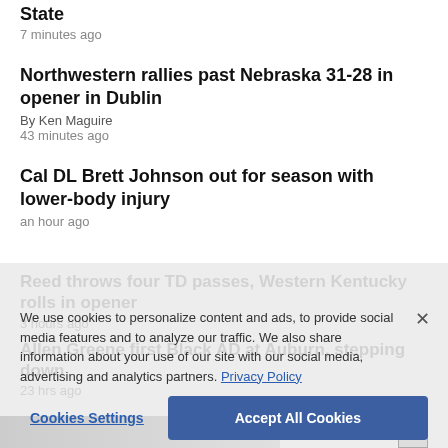State
7 minutes ago
Northwestern rallies past Nebraska 31-28 in opener in Dublin
By Ken Maguire
43 minutes ago
Cal DL Brett Johnson out for season with lower-body injury
an hour ago
Reed throws four TD passes, Western Kentucky rolls in opener
3 hours ago
Allen Greene first Black AD at Auburn, stepping down
23 hrs ago
We use cookies to personalize content and ads, to provide social media features and to analyze our traffic. We also share information about your use of our site with our social media, advertising and analytics partners. Privacy Policy